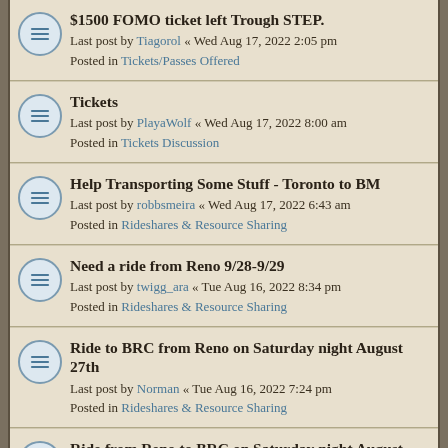$1500 FOMO ticket left Trough STEP.
Last post by Tiagorol « Wed Aug 17, 2022 2:05 pm
Posted in Tickets/Passes Offered
Tickets
Last post by PlayaWolf « Wed Aug 17, 2022 8:00 am
Posted in Tickets Discussion
Help Transporting Some Stuff - Toronto to BM
Last post by robbsmeira « Wed Aug 17, 2022 6:43 am
Posted in Rideshares & Resource Sharing
Need a ride from Reno 9/28-9/29
Last post by twigg_ara « Tue Aug 16, 2022 8:34 pm
Posted in Rideshares & Resource Sharing
Ride to BRC from Reno on Saturday night August 27th
Last post by Norman « Tue Aug 16, 2022 7:24 pm
Posted in Rideshares & Resource Sharing
Ride from Reno to BRC on Saturday night August 27th
Last post by Norman « Tue Aug 16, 2022 6:52 pm
Posted in Bikes & Transportation